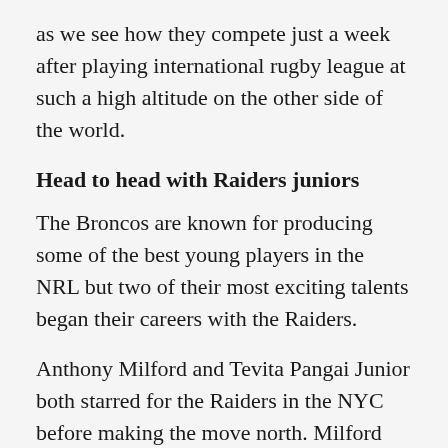as we see how they compete just a week after playing international rugby league at such a high altitude on the other side of the world.
Head to head with Raiders juniors
The Broncos are known for producing some of the best young players in the NRL but two of their most exciting talents began their careers with the Raiders.
Anthony Milford and Tevita Pangai Junior both starred for the Raiders in the NYC before making the move north. Milford also spent two seasons playing first grade for the Raiders and was named Canberra's Rookie of the Year in